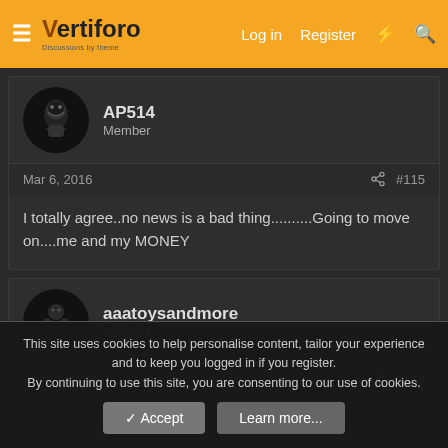Vertiforo - Log In - Register
AP514
Member
Mar 6, 2016  #115
I totally agree..no news is a bad thing..........Going to move on....me and my MONEY
aaatoysandmore
Member
Apr 17, 2016  #116
This site uses cookies to help personalise content, tailor your experience and to keep you logged in if you register.
By continuing to use this site, you are consenting to our use of cookies.